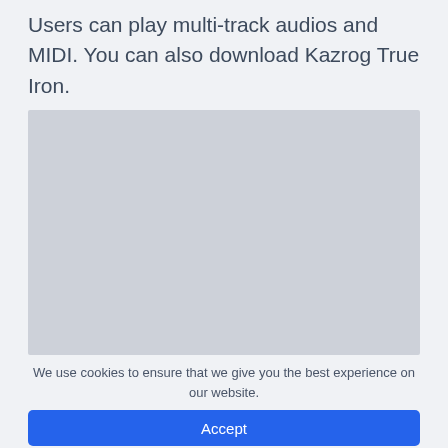Users can play multi-track audios and MIDI. You can also download Kazrog True Iron.
[Figure (other): Gray placeholder image rectangle]
We use cookies to ensure that we give you the best experience on our website.
Accept